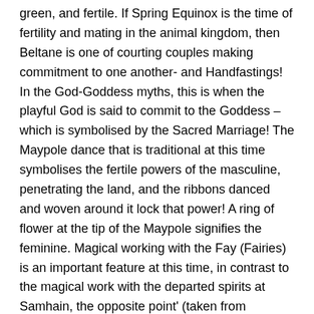green, and fertile. If Spring Equinox is the time of fertility and mating in the animal kingdom, then Beltane is one of courting couples making commitment to one another- and Handfastings! In the God-Goddess myths, this is when the playful God is said to commit to the Goddess – which is symbolised by the Sacred Marriage! The Maypole dance that is traditional at this time symbolises the fertile powers of the masculine, penetrating the land, and the ribbons danced and woven around it lock that power! A ring of flower at the tip of the Maypole signifies the feminine. Magical working with the Fay (Fairies) is an important feature at this time, in contrast to the magical work with the departed spirits at Samhain, the opposite point' (taken from http://www.WitchcraftandMagic.uk )
Beltane Rituals in London: